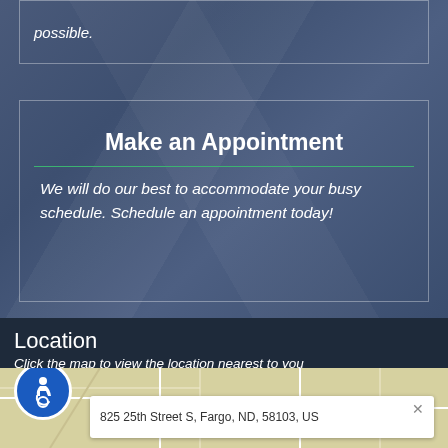possible.
Make an Appointment
We will do our best to accommodate your busy schedule. Schedule an appointment today!
Location
Click the map to view the location nearest to you
[Figure (map): Map showing location with accessibility icon and popup showing address: 825 25th Street S, Fargo, ND, 58103, US]